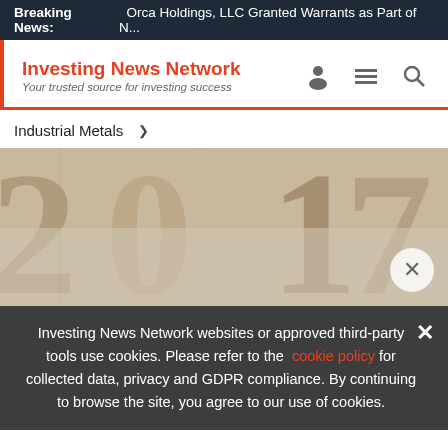Breaking News: Orca Holdings, LLC Granted Warrants as Part of N...
Investing News Network
Your trusted source for investing success
Industrial Metals >
[Figure (photo): Close-up photo of large metallic 2017 numerals on a textured background]
Investing News Network websites or approved third-party tools use cookies. Please refer to the cookie policy for collected data, privacy and GDPR compliance. By continuing to browse the site, you agree to our use of cookies.